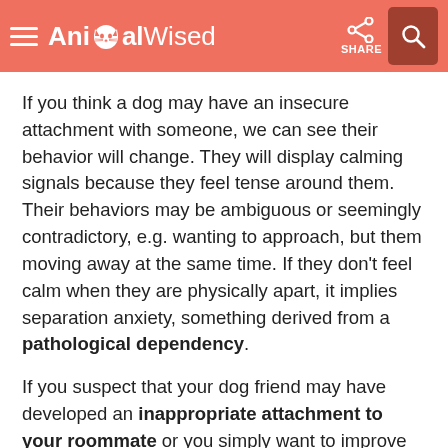AnimalWised — SHARE [search icon]
If you think a dog may have an insecure attachment with someone, we can see their behavior will change. They will display calming signals because they feel tense around them. Their behaviors may be ambiguous or seemingly contradictory, e.g. wanting to approach, but them moving away at the same time. If they don't feel calm when they are physically apart, it implies separation anxiety, something derived from a pathological dependency.
If you suspect that your dog friend may have developed an inappropriate attachment to your roommate or you simply want to improve your relationship with them in order to become their favorite person, you should contact a professional ethologist or canine educator. They will help assess your situation, understand the dogs issues and implement practical methods of improving a healthy bond